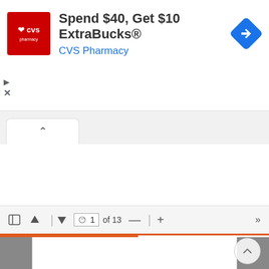[Figure (screenshot): CVS Pharmacy advertisement banner: red CVS pharmacy logo on left, text 'Spend $40, Get $10 ExtraBucks®' in dark gray and 'CVS Pharmacy' in blue, blue diamond navigation icon on right. Below: play and close controls. Tab bar with up-caret tab. Toolbar with page navigation controls showing page 1 of 13. PDF document area below.]